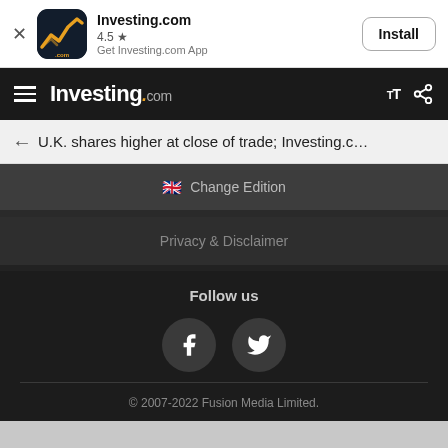[Figure (screenshot): Investing.com app install banner with logo icon, 4.5 star rating, and Install button]
Investing.com
U.K. shares higher at close of trade; Investing.c…
🇬🇧 Change Edition
Privacy & Disclaimer
Follow us
© 2007-2022 Fusion Media Limited.